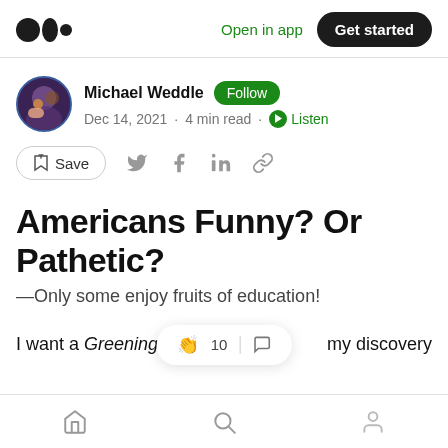Medium logo | Open in app | Get started
Michael Weddle · Follow · Dec 14, 2021 · 4 min read · Listen
Save (bookmark) | Twitter | Facebook | LinkedIn | Link icons
Americans Funny? Or Pathetic?
—Only some enjoy fruits of education!
I want a Greening  👏 10  💬  my discovery
Home | Search | Profile